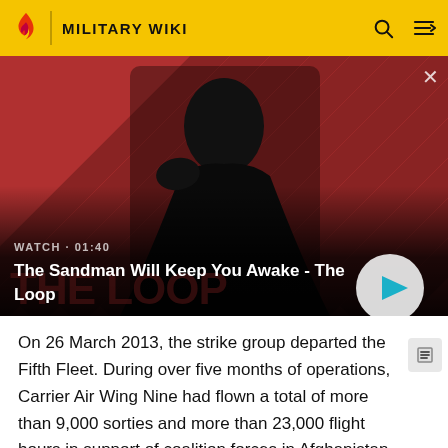MILITARY WIKI
[Figure (screenshot): Video thumbnail for 'The Sandman Will Keep You Awake - The Loop' showing a dark figure with a raven on a red and black diagonal striped background. Label reads WATCH · 01:40 with a play button.]
On 26 March 2013, the strike group departed the Fifth Fleet. During over five months of operations, Carrier Air Wing Nine had flown a total of more than 9,000 sorties and more than 23,000 flight hours in support of coalition forces in Afghanistan.[98] Also on that date, the carrier